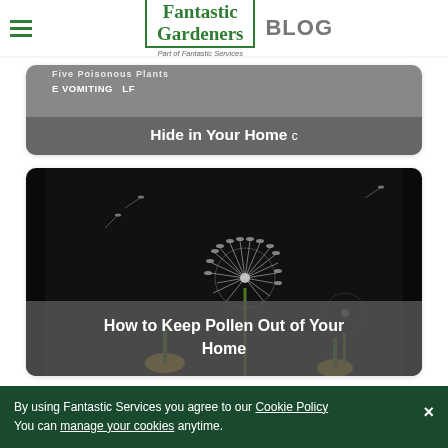Fantastic Gardeners BLOG
[Figure (photo): Card with grey background showing text overlay: Five Poisonous Plants... E VOMITING... Hide in Your Home]
[Figure (photo): Dark background photo of dandelions blowing seeds, with overlay text: How to Keep Pollen Out of Your Home]
#eco-friendly   #edibles   #how to
4 Comments
Leave a comment
By using Fantastic Services you agree to our Cookie Policy You can manage your cookies anytime.